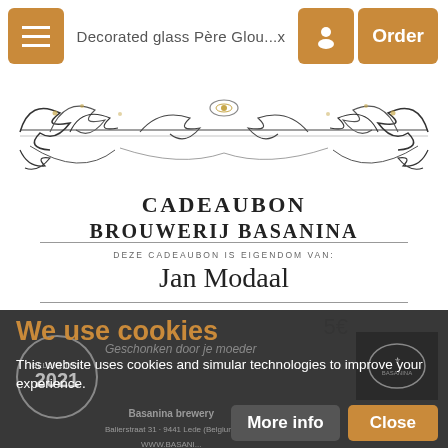Decorated glass Père Glou...x
[Figure (illustration): Decorative ornamental scrollwork banner with floral and swirl motifs in gold and dark ink]
CADEAUBON BROUWERIJ BASANINA
DEZE CADEAUBON IS EIGENDOM VAN:
Jan Modaal
5€
We use cookies
This website uses cookies and simular technologies to improve your experience.
More info
Close
GELDIG TOT: 2021
Geschonken door je moeder
Basanina brewery
Balierstraat 31 - 9441 Lede (Belgium)
WWW.BASANI...